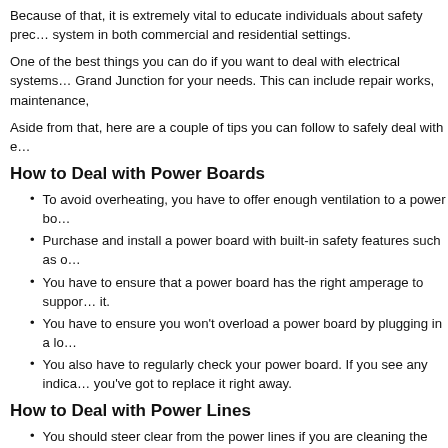Because of that, it is extremely vital to educate individuals about safety precautions for the electrical system in both commercial and residential settings.
One of the best things you can do if you want to deal with electrical systems is to hire an electrician in Grand Junction for your needs. This can include repair works, maintenance,
Aside from that, here are a couple of tips you can follow to safely deal with electrical systems:
How to Deal with Power Boards
To avoid overheating, you have to offer enough ventilation to a power board.
Purchase and install a power board with built-in safety features such as overload protection.
You have to ensure that a power board has the right amperage to support the devices connected to it.
You have to ensure you won't overload a power board by plugging in a lot of devices.
You also have to regularly check your power board. If you see any indication of damage or wear, you've got to replace it right away.
How to Deal with Power Lines
You should steer clear from the power lines if you are cleaning the roof.
You should instruct your kids not to climb trees near overhead power lines.
If you've got a tree near a power line, you should regularly trim it.
How to Deal with Outlets and Fuses
Make sure you utilize ground fault circuit interrupters on every outdoor outlet.